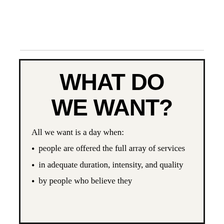WHAT DO WE WANT?
All we want is a day when:
people are offered the full array of services
in adequate duration, intensity, and quality
by people who believe they